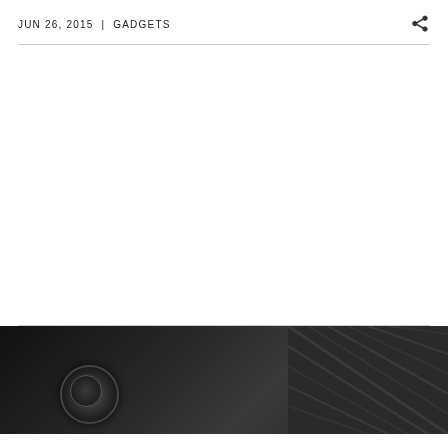JUN 26, 2015 | GADGETS
[Figure (photo): Close-up photo of a dark/black smartphone or device showing camera lens and textured back surface]